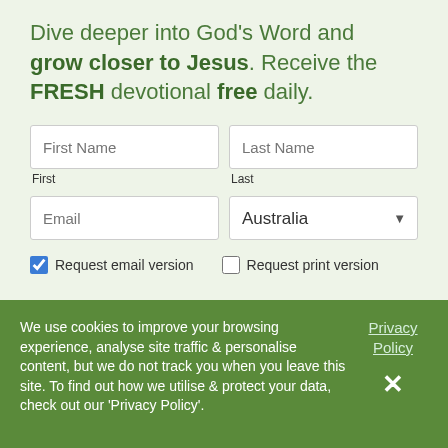Dive deeper into God's Word and grow closer to Jesus. Receive the FRESH devotional free daily.
[Figure (screenshot): A web form with fields: First Name, Last Name, Email, Australia (country dropdown), checkboxes for 'Request email version' (checked) and 'Request print version' (unchecked).]
We use cookies to improve your browsing experience, analyse site traffic & personalise content, but we do not track you when you leave this site. To find out how we utilise & protect your data, check out our 'Privacy Policy'.
Privacy Policy